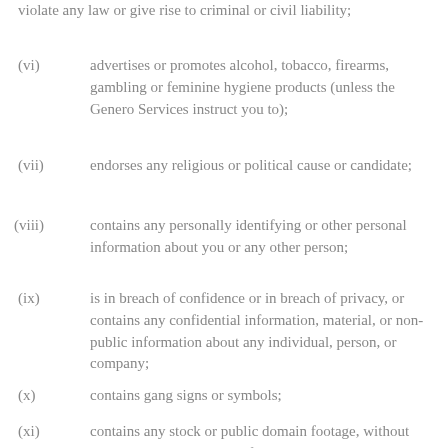violate any law or give rise to criminal or civil liability;
(vi) advertises or promotes alcohol, tobacco, firearms, gambling or feminine hygiene products (unless the Genero Services instruct you to);
(vii) endorses any religious or political cause or candidate;
(viii) contains any personally identifying or other personal information about you or any other person;
(ix) is in breach of confidence or in breach of privacy, or contains any confidential information, material, or non-public information about any individual, person, or company;
(x) contains gang signs or symbols;
(xi) contains any stock or public domain footage, without the prior written consent of Genero; or